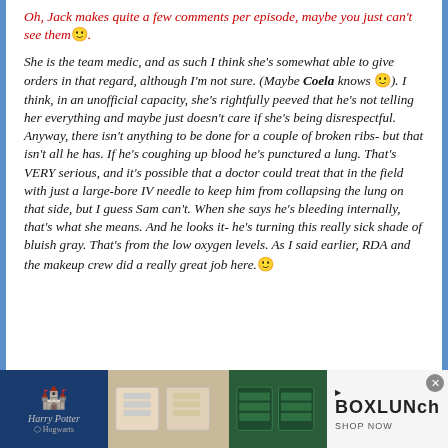Oh, Jack makes quite a few comments per episode, maybe you just can't see them 🙂.
She is the team medic, and as such I think she's somewhat able to give orders in that regard, although I'm not sure. (Maybe Coela knows 🙂). I think, in an unofficial capacity, she's rightfully peeved that he's not telling her everything and maybe just doesn't care if she's being disrespectful. Anyway, there isn't anything to be done for a couple of broken ribs- but that isn't all he has. If he's coughing up blood he's punctured a lung. That's VERY serious, and it's possible that a doctor could treat that in the field with just a large-bore IV needle to keep him from collapsing the lung on that side, but I guess Sam can't. When she says he's bleeding internally, that's what she means. And he looks it- he's turning this really sick shade of bluish gray. That's from the low oxygen levels. As I said earlier, RDA and the makeup crew did a really great job here. 🙂
[Figure (photo): Advertisement banner for BoxLunch featuring Harry Potter merchandise including towels and Slytherin sweaters, with a Harry Potter castle graphic on the left.]